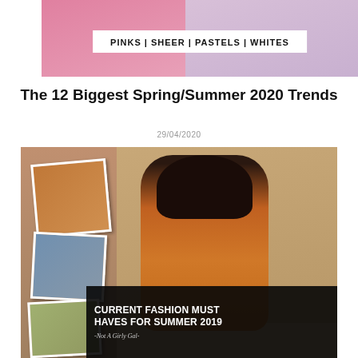[Figure (photo): Fashion collage showing pink, lavender and pastel outfits with text banner reading PINKS | SHEER | PASTELS | WHITES]
The 12 Biggest Spring/Summer 2020 Trends
29/04/2020
[Figure (photo): Fashion collage with woman in orange dress standing by iron fence outside a building, with smaller polaroid-style photos of orange outfits on left side, and dark overlay reading CURRENT FASHION MUST HAVES FOR SUMMER 2019 -Not A Girly Gal-]